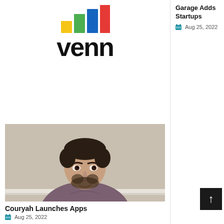[Figure (logo): Venn logo with colorful bar chart icon above the word 'venn' in bold black text]
Garage Adds Startups
Aug 25, 2022
[Figure (photo): Portrait photo of a young man with dark hair and beard wearing a grey sweater]
Couryah Launches Apps
Aug 25, 2022